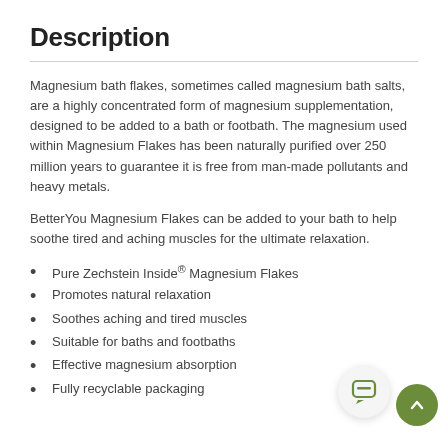Description
Magnesium bath flakes, sometimes called magnesium bath salts, are a highly concentrated form of magnesium supplementation, designed to be added to a bath or footbath. The magnesium used within Magnesium Flakes has been naturally purified over 250 million years to guarantee it is free from man-made pollutants and heavy metals.
BetterYou Magnesium Flakes can be added to your bath to help soothe tired and aching muscles for the ultimate relaxation.
Pure Zechstein Inside® Magnesium Flakes
Promotes natural relaxation
Soothes aching and tired muscles
Suitable for baths and footbaths
Effective magnesium absorption
Fully recyclable packaging